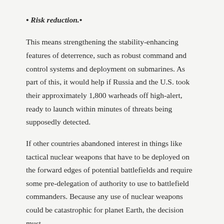• Risk reduction.•
This means strengthening the stability-enhancing features of deterrence, such as robust command and control systems and deployment on submarines. As part of this, it would help if Russia and the U.S. took their approximately 1,800 warheads off high-alert, ready to launch within minutes of threats being supposedly detected.
If other countries abandoned interest in things like tactical nuclear weapons that have to be deployed on the forward edges of potential battlefields and require some pre-delegation of authority to use to battlefield commanders. Because any use of nuclear weapons could be catastrophic for planet Earth, the decision must